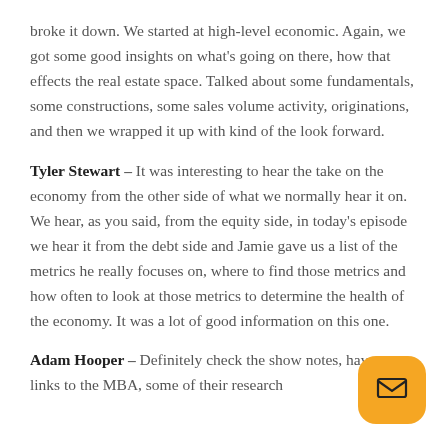broke it down. We started at high-level economic. Again, we got some good insights on what's going on there, how that effects the real estate space. Talked about some fundamentals, some constructions, some sales volume activity, originations, and then we wrapped it up with kind of the look forward.
Tyler Stewart – It was interesting to hear the take on the economy from the other side of what we normally hear it on. We hear, as you said, from the equity side, in today's episode we hear it from the debt side and Jamie gave us a list of the metrics he really focuses on, where to find those metrics and how often to look at those metrics to determine the health of the economy. It was a lot of good information on this one.
Adam Hooper – Definitely check the show notes, have some links to the MBA, some of their research
[Figure (illustration): Orange rounded square button with an email/envelope icon in the bottom-right corner of the page]